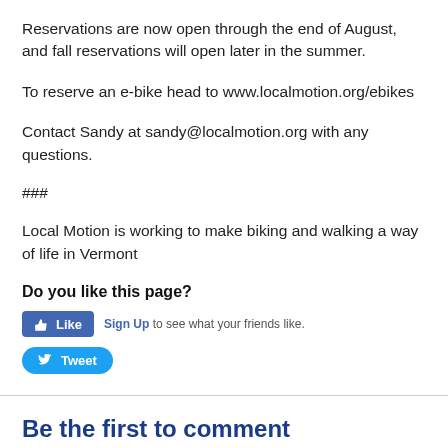Reservations are now open through the end of August, and fall reservations will open later in the summer.
To reserve an e-bike head to www.localmotion.org/ebikes
Contact Sandy at sandy@localmotion.org with any questions.
###
Local Motion is working to make biking and walking a way of life in Vermont
Do you like this page?
[Figure (screenshot): Facebook Like button with Sign Up link and tweet text. Like button is blue with thumbs up icon. Tweet button is blue rounded with bird icon.]
Be the first to comment